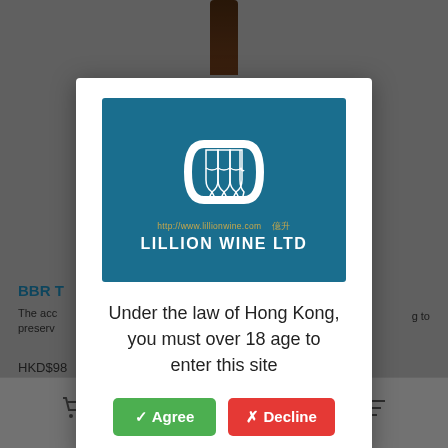[Figure (screenshot): Background of a wine e-commerce website showing a wine bottle, product title 'BBR T...', description text, price 'HKD$98...', and bottom navigation icons, all dimmed behind a modal overlay]
[Figure (logo): Lillion Wine Ltd logo: white wine glass icons on teal/dark blue background with text 'http://www.lillionwine.com', Chinese characters '億升', and 'LILLION WINE LTD']
Under the law of Hong Kong, you must over 18 age to enter this site
✓ Agree
✗ Decline